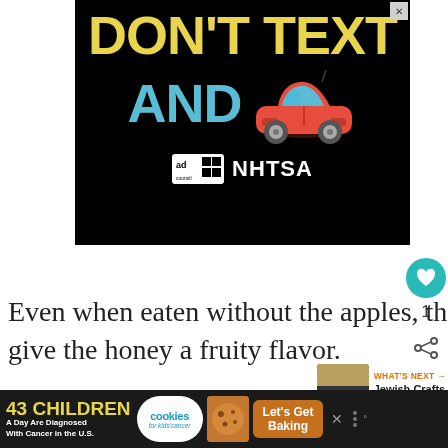[Figure (infographic): Black background ad banner: 'DON'T TEXT AND [car emoji]' in large yellow and cyan text with Ad Council and NHTSA logos at bottom. Close X button in top right.]
Even when eaten without the apples, th give the honey a fruity flavor.
[Figure (infographic): WHAT'S NEXT arrow label with thumbnail image and text 'Jewish Crafts for Adults']
[Figure (photo): Partial bottom image with tan/beige background]
[Figure (infographic): Bottom ad banner: '43 CHILDREN A Day Are Diagnosed With Cancer in the U.S.' with cookies for kids cancer badge, Let's Get Baking button, and cookie image]